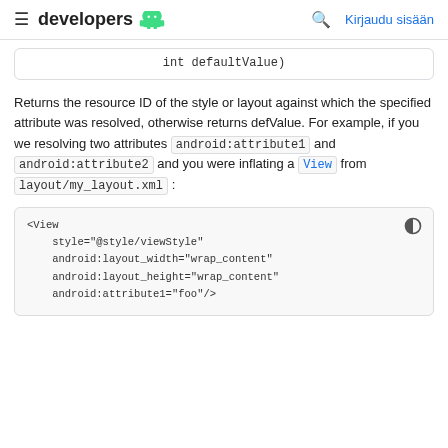≡ developers 🤖  🔍  Kirjaudu sisään
int defaultValue)
Returns the resource ID of the style or layout against which the specified attribute was resolved, otherwise returns defValue. For example, if you we resolving two attributes android:attribute1 and android:attribute2 and you were inflating a View from layout/my_layout.xml :
<View
    style="@style/viewStyle"
    android:layout_width="wrap_content"
    android:layout_height="wrap_content"
    android:attribute1="foo"/>